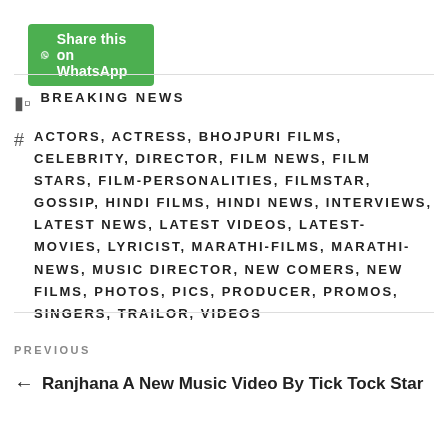[Figure (other): Green WhatsApp share button with WhatsApp logo icon and text 'Share this on WhatsApp']
BREAKING NEWS
ACTORS, ACTRESS, BHOJPURI FILMS, CELEBRITY, DIRECTOR, FILM NEWS, FILM STARS, FILM-PERSONALITIES, FILMSTAR, GOSSIP, HINDI FILMS, HINDI NEWS, INTERVIEWS, LATEST NEWS, LATEST VIDEOS, LATEST-MOVIES, LYRICIST, MARATHI-FILMS, MARATHI-NEWS, MUSIC DIRECTOR, NEW COMERS, NEW FILMS, PHOTOS, PICS, PRODUCER, PROMOS, SINGERS, TRAILOR, VIDEOS
PREVIOUS
← Ranjhana A New Music Video By Tick Tock Star